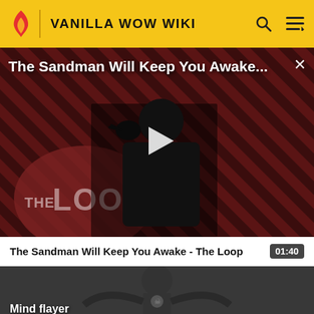VANILLA WOW WIKI
[Figure (screenshot): Video player showing 'The Sandman Will Keep You Awake...' with a play button overlay, diagonal stripe background in red/dark, figure with crow, THE LOOP logo visible, close button top right]
The Sandman Will Keep You Awake - The Loop
01:40
[Figure (screenshot): Dark thumbnail image showing a skeletal/death figure in mist, labeled 'Mind flayer']
Mind flayer